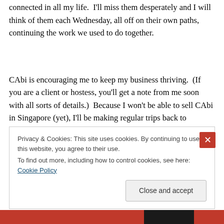connected in all my life.  I'll miss them desperately and I will think of them each Wednesday, all off on their own paths, continuing the work we used to do together.
CAbi is encouraging me to keep my business thriving.  (If you are a client or hostess, you'll get a note from me soon with all sorts of details.)  Because I won't be able to sell CAbi in Singapore (yet), I'll be making regular trips back to
Privacy & Cookies: This site uses cookies. By continuing to use this website, you agree to their use.
To find out more, including how to control cookies, see here: Cookie Policy
Close and accept